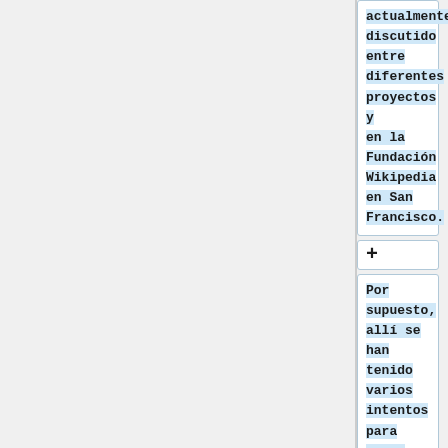actualmente discutido entre diferentes proyectos y en la Fundación Wikipedia en San Francisco.
+
Por supuesto, allí se han tenido varios intentos para crear versiones fuera de línea del